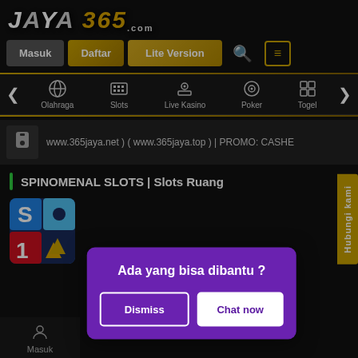[Figure (logo): JAYA 365 logo with gold colored 365 on dark background]
[Figure (screenshot): Navigation bar with Masuk, Daftar, Lite Version buttons, search icon and menu icon]
[Figure (screenshot): Category navigation with icons for Olahraga, Slots, Live Kasino, Poker, Togel]
www.365jaya.net ) ( www.365jaya.top ) | PROMO: CASHE
SPINOMENAL SLOTS | Slots Ruang
[Figure (screenshot): Game card thumbnail showing Spinomenal slots game]
[Figure (infographic): Popup dialog: Ada yang bisa dibantu? with Dismiss and Chat now buttons on purple background]
Masuk